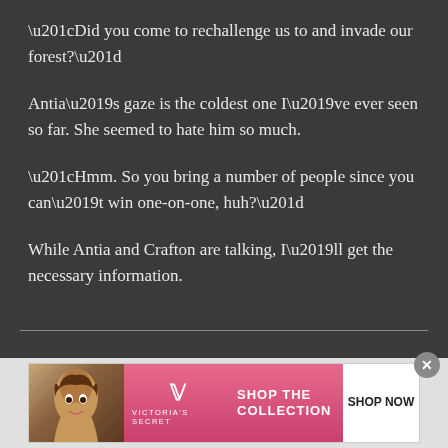“Did you come to rechallenge us to and invade our forest?”
Antia’s gaze is the coldest one I’ve ever seen so far. She seemed to hate him so much.
“Hmm. So you bring a number of people since you can’t win one-on-one, huh?”
While Antia and Crafton are talking, I’ll get the necessary information.
[Figure (photo): Victoria's Secret advertisement banner with model, VS logo, 'Shop the Collection' text, and 'Shop Now' button on pink background]